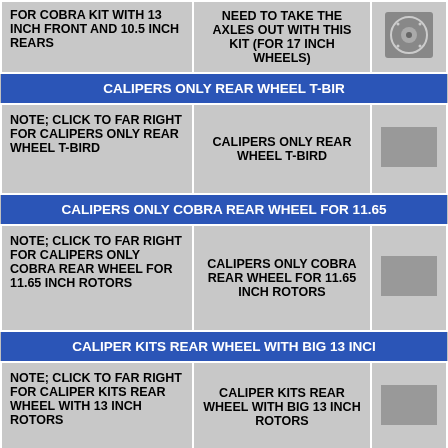| FOR COBRA KIT WITH 13 INCH FRONT AND 10.5 INCH REARS | NEED TO TAKE THE AXLES OUT WITH THIS KIT (FOR 17 INCH WHEELS) | [image] |
| [SECTION HEADER] CALIPERS ONLY REAR WHEEL T-BIR |  |  |
| NOTE; CLICK TO FAR RIGHT FOR CALIPERS ONLY REAR WHEEL T-BIRD | CALIPERS ONLY REAR WHEEL T-BIRD | [image] |
| [SECTION HEADER] CALIPERS ONLY COBRA REAR WHEEL FOR 11.65 |  |  |
| NOTE; CLICK TO FAR RIGHT FOR CALIPERS ONLY COBRA REAR WHEEL FOR 11.65 INCH ROTORS | CALIPERS ONLY COBRA REAR WHEEL FOR 11.65 INCH ROTORS | [image] |
| [SECTION HEADER] CALIPER KITS REAR WHEEL WITH BIG 13 INCI |  |  |
| NOTE; CLICK TO FAR RIGHT FOR CALIPER KITS REAR WHEEL WITH 13 INCH ROTORS | CALIPER KITS REAR WHEEL WITH BIG 13 INCH ROTORS | [image] |
| [SECTION HEADER] COBRA CALIPER KITS REAR WHEEL WITH 11.65 I |  |  |
| NOTE; CLICK TO FAR RIGHT FOR COBRA CALIPER KITS REAR WHEEL WITH 11.65 INCH ROTORS | COBRA CALIPER KITS REAR WHEEL WITH 11.65 INCH ROTORS | [image] |